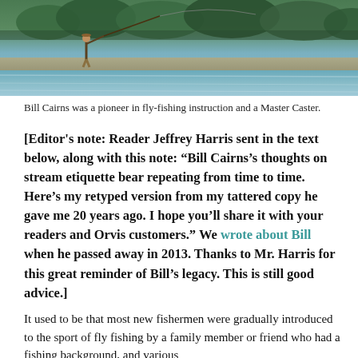[Figure (photo): A fly fisherman standing in a river casting a fly rod, with trees and rocky riverbank in the background. The river is wide and flowing.]
Bill Cairns was a pioneer in fly-fishing instruction and a Master Caster.
[Editor's note: Reader Jeffrey Harris sent in the text below, along with this note: “Bill Cairns’s thoughts on stream etiquette bear repeating from time to time. Here’s my retyped version from my tattered copy he gave me 20 years ago. I hope you’ll share it with your readers and Orvis customers.” We wrote about Bill when he passed away in 2013. Thanks to Mr. Harris for this great reminder of Bill’s legacy. This is still good advice.]
It used to be that most new fishermen were gradually introduced to the sport of fly fishing by a family member or friend who had a fishing background, and various